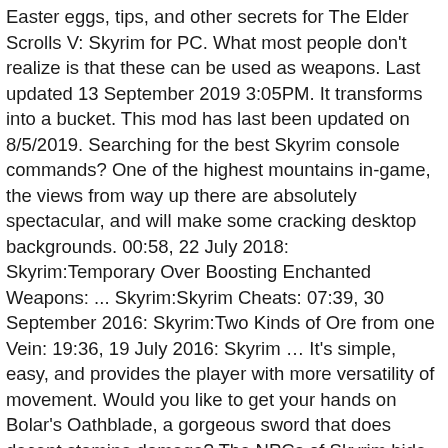Easter eggs, tips, and other secrets for The Elder Scrolls V: Skyrim for PC. What most people don't realize is that these can be used as weapons. Last updated 13 September 2019 3:05PM. It transforms into a bucket. This mod has last been updated on 8/5/2019. Searching for the best Skyrim console commands? One of the highest mountains in-game, the views from way up there are absolutely spectacular, and will make some cracking desktop backgrounds. 00:58, 22 July 2018: Skyrim:Temporary Over Boosting Enchanted Weapons: ... Skyrim:Skyrim Cheats: 07:39, 30 September 2016: Skyrim:Two Kinds of Ore from one Vein: 19:36, 19 July 2016: Skyrim … It's simple, easy, and provides the player with more versatility of movement. Would you like to get your hands on Bolar's Oathblade, a gorgeous sword that does decent stamina damage? The NPCs of Skyrim hide secrets that even some of the more hardcore players may not know about. It feels like no one knows this, but you can roll about happily in Skyrim. Here, you can level up your archery skills ridiculously quickly. He's trying to bring some chickens back to life, by placing an egg on a dish that would result from a necromancer the player invites